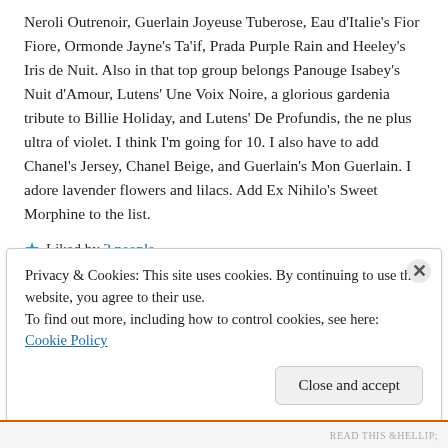Neroli Outrenoir, Guerlain Joyeuse Tuberose, Eau d'Italie's Fior Fiore, Ormonde Jayne's Ta'if, Prada Purple Rain and Heeley's Iris de Nuit. Also in that top group belongs Panouge Isabey's Nuit d'Amour, Lutens' Une Voix Noire, a glorious gardenia tribute to Billie Holiday, and Lutens' De Profundis, the ne plus ultra of violet. I think I'm going for 10. I also have to add Chanel's Jersey, Chanel Beige, and Guerlain's Mon Guerlain. I adore lavender flowers and lilacs. Add Ex Nihilo's Sweet Morphine to the list.
★ Liked by 2 people
Reply
Privacy & Cookies: This site uses cookies. By continuing to use this website, you agree to their use. To find out more, including how to control cookies, see here: Cookie Policy